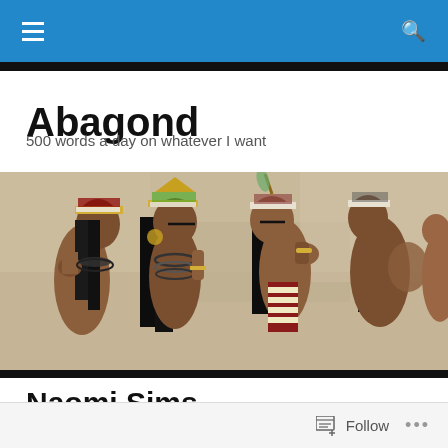Navigation bar with menu and search icons
Abagond
500 words a day on whatever I want
[Figure (illustration): Ancient Egyptian fresco showing four women in profile with headdresses, jewelry, and colorful garments against a stone background]
Naomi Sims
[Figure (photo): Partial photo visible at bottom — appears to show a person's hair/head, photo cropped, on peach/tan background]
Follow  ...